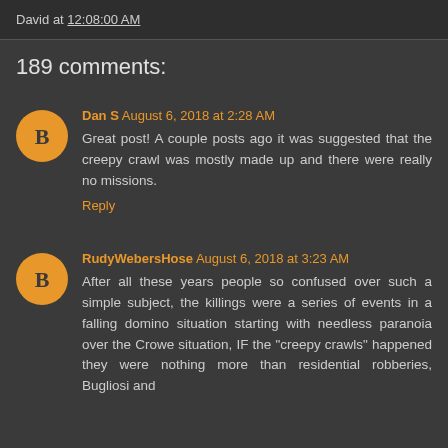David at 12:08:00 AM
189 comments:
Dan S August 6, 2018 at 2:28 AM
Great post! A couple posts ago it was suggested that the creepy crawl was mostly made up and there were really no missions.
Reply
RudyWebersHose August 6, 2018 at 3:23 AM
After all these years people so confused over such a simple subject, the killings were a series of events in a falling domino situation starting with needless paranoia over the Crowe situation, IF the "creepy crawls" happened they were nothing more than residential robberies, Bugliosi and